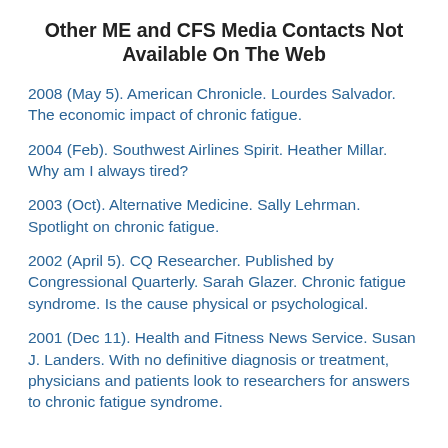Other ME and CFS Media Contacts Not Available On The Web
2008 (May 5). American Chronicle. Lourdes Salvador. The economic impact of chronic fatigue.
2004 (Feb). Southwest Airlines Spirit. Heather Millar. Why am I always tired?
2003 (Oct). Alternative Medicine. Sally Lehrman. Spotlight on chronic fatigue.
2002 (April 5). CQ Researcher. Published by Congressional Quarterly. Sarah Glazer. Chronic fatigue syndrome. Is the cause physical or psychological.
2001 (Dec 11). Health and Fitness News Service. Susan J. Landers. With no definitive diagnosis or treatment, physicians and patients look to researchers for answers to chronic fatigue syndrome.